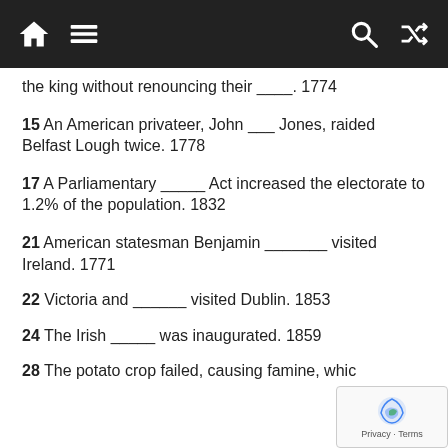Navigation bar with home, menu, search, and shuffle icons
the king without renouncing their ____. 1774
15 An American privateer, John ___ Jones, raided Belfast Lough twice. 1778
17 A Parliamentary _____ Act increased the electorate to 1.2% of the population. 1832
21 American statesman Benjamin _______ visited Ireland. 1771
22 Victoria and ______ visited Dublin. 1853
24 The Irish _____ was inaugurated. 1859
28 The potato crop failed, causing famine, whic